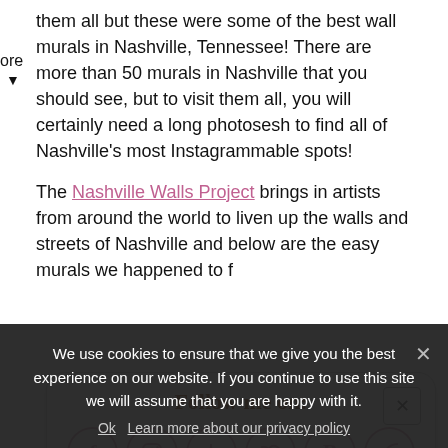them all but these were some of the best wall murals in Nashville, Tennessee! There are more than 50 murals in Nashville that you should see, but to visit them all, you will certainly need a long photosesh to find all of Nashville's most Instagrammable spots!
The Nashville Walls Project brings in artists from around the world to liven up the walls and streets of Nashville and below are the easy murals we happened to f
[Figure (infographic): Social media popup overlay with 'Follow me on:' header in handwritten brown font, six circular social media icons (Facebook, Instagram, Pinterest, Twitter, Bloglovin, RSS) with pink borders, and partial 'Or sign up to my newsletter' text at the bottom]
We use cookies to ensure that we give you the best experience on our website. If you continue to use this site we will assume that you are happy with it.
Ok   Learn more about our privacy policy